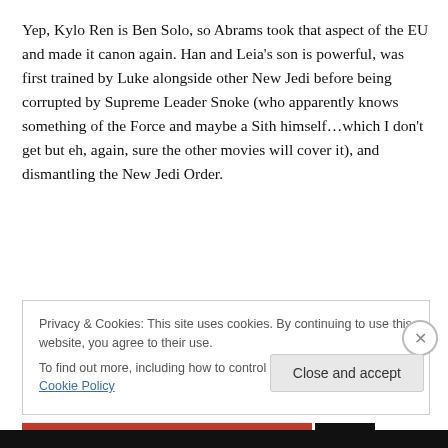Yep, Kylo Ren is Ben Solo, so Abrams took that aspect of the EU and made it canon again. Han and Leia's son is powerful, was first trained by Luke alongside other New Jedi before being corrupted by Supreme Leader Snoke (who apparently knows something of the Force and maybe a Sith himself…which I don't get but eh, again, sure the other movies will cover it), and dismantling the New Jedi Order.
Privacy & Cookies: This site uses cookies. By continuing to use this website, you agree to their use.
To find out more, including how to control cookies, see here: Cookie Policy